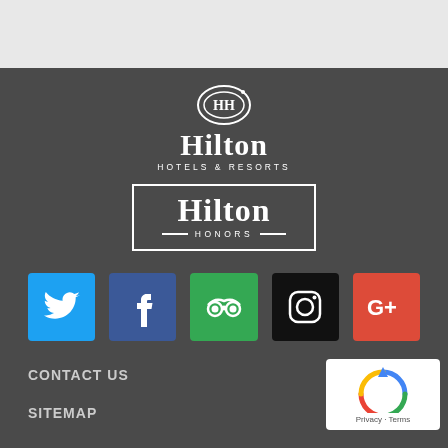[Figure (logo): Light gray top section, part of website header]
[Figure (logo): Hilton Hotels & Resorts logo with oval emblem, serif Hilton text, and HOTELS & RESORTS subtitle]
[Figure (logo): Hilton Honors logo in white rectangle border with HONORS subtitle flanked by horizontal lines]
[Figure (infographic): Row of 5 social media icons: Twitter (blue), Facebook (dark blue), TripAdvisor (green), Instagram (black), Google+ (red)]
CONTACT US
SITEMAP
[Figure (logo): Google reCAPTCHA badge with Privacy and Terms text]